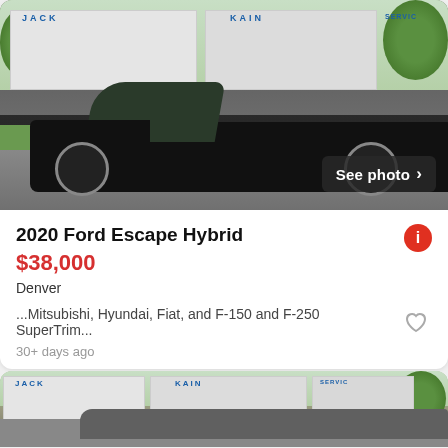[Figure (photo): Black 2020 Ford Escape Hybrid SUV parked in a Jack Kain Ford dealership lot. Vehicle is black, front-facing at an angle. Dealership building visible in background with 'JACK' and 'KAIN' signage. 'See photo >' button visible in bottom right.]
2020 Ford Escape Hybrid
$38,000
Denver
...Mitsubishi, Hyundai, Fiat, and F-150 and F-250 SuperTrim...
30+ days ago
[Figure (photo): Partial view of a second vehicle listing showing the same Jack Kain Ford dealership. A gray/silver SUV is visible in the lower portion of the image. Dealership building with 'JACK' and 'KAIN' signs visible.]